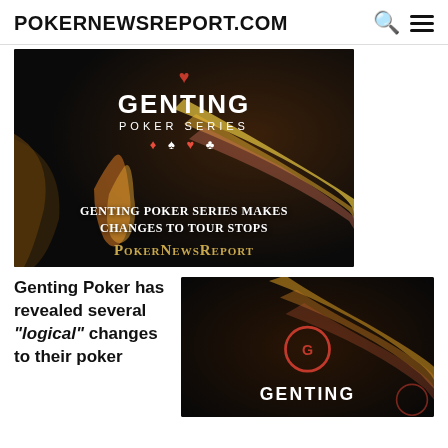POKERNEWSREPORT.COM
[Figure (photo): Genting Poker Series promotional banner image with text 'Genting Poker Series Makes Changes to Tour Stops' and PokerNewsReport logo on dark background with colorful swoosh lighting effects]
Genting Poker has revealed several "logical" changes to their poker
[Figure (photo): Genting logo on dark background with circular G logo mark and colorful light streaks]